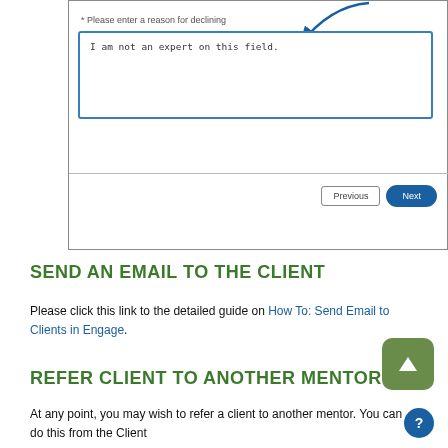[Figure (screenshot): Screenshot of a form with a textarea labeled '* Please enter a reason for declining' containing the text 'I am not an expert on this field.' with a blue arrow pointing to the textarea, and Previous/Next navigation buttons at the bottom.]
SEND AN EMAIL TO THE CLIENT
Please click this link to the detailed guide on How To: Send Email to Clients in Engage.
REFER CLIENT TO ANOTHER MENTOR
At any point, you may wish to refer a client to another mentor. You can do this from the Client